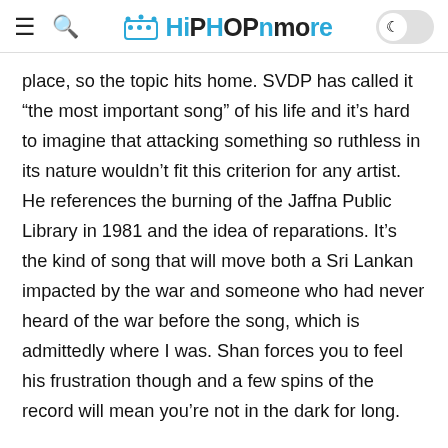HiPHOPnMore
place, so the topic hits home. SVDP has called it “the most important song” of his life and it’s hard to imagine that attacking something so ruthless in its nature wouldn’t fit this criterion for any artist. He references the burning of the Jaffna Public Library in 1981 and the idea of reparations. It’s the kind of song that will move both a Sri Lankan impacted by the war and someone who had never heard of the war before the song, which is admittedly where I was. Shan forces you to feel his frustration though and a few spins of the record will mean you’re not in the dark for long.
Sitting with the album, it’s inevitable that you’ll wonder